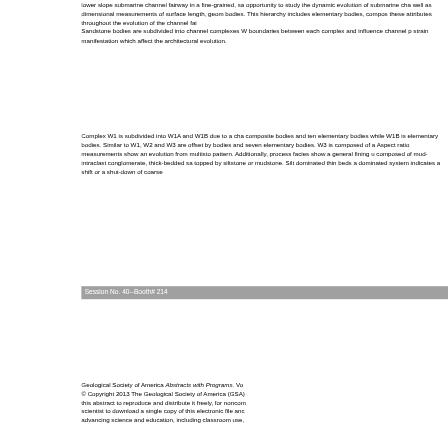lower slope submarine channel fairway in a fine-grained, sa opportunity to study the dynamic evolution of submarine cha well as dimensional measurements of surface length, geom bodies. This hierarchy includes elementary bodies, compos these attributes throughout the evolution of the channel fai Sandstone bodies are subdivided into channel complexes W boundaries between each complex and influence channel p strain manifestation which affect the architectural evolution.
Complex W1 is subdivided into W1A and W1B due to a cha composite bodies and ten elementary bodies while W1B is elementary bodies. Similar to W1, W2 and W3 are offset by bodies and seven elementary bodies. W3 is composed of a Aspect ratio measurements show an evolution from multisto pattern. Additionally, process facies show a general fining u composed of mud-intraclast conglomerate, thick-bedded sa topped by siltstone or mudstone. Silt dominated thin beds a dominated system indicates a shift or a shut-down of coarse
Session No. 40--Booth# 214
Geological Society of America Abstracts with Programs. Vol © Copyright 2013 The Geological Society of America (GSA) this abstract to reproduce and distribute it freely, for noncom scientist to download a single copy of this electronic file anc advancing science and education, including classroom use,